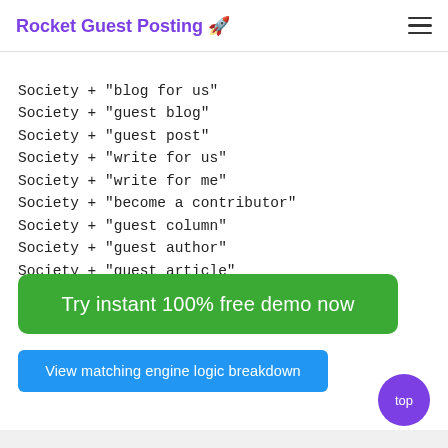Rocket Guest Posting 🚀
Society + "blog for us"
Society + "guest blog"
Society + "guest post"
Society + "write for us"
Society + "write for me"
Society + "become a contributor"
Society + "guest column"
Society + "guest author"
Society + "guest article"
Society + "guest blogger"
Try instant 100% free demo now
View matching engine logic breakdown